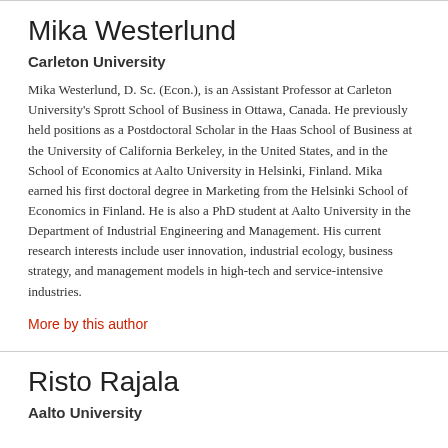Mika Westerlund
Carleton University
Mika Westerlund, D. Sc. (Econ.), is an Assistant Professor at Carleton University's Sprott School of Business in Ottawa, Canada. He previously held positions as a Postdoctoral Scholar in the Haas School of Business at the University of California Berkeley, in the United States, and in the School of Economics at Aalto University in Helsinki, Finland. Mika earned his first doctoral degree in Marketing from the Helsinki School of Economics in Finland. He is also a PhD student at Aalto University in the Department of Industrial Engineering and Management. His current research interests include user innovation, industrial ecology, business strategy, and management models in high-tech and service-intensive industries.
More by this author
Risto Rajala
Aalto University